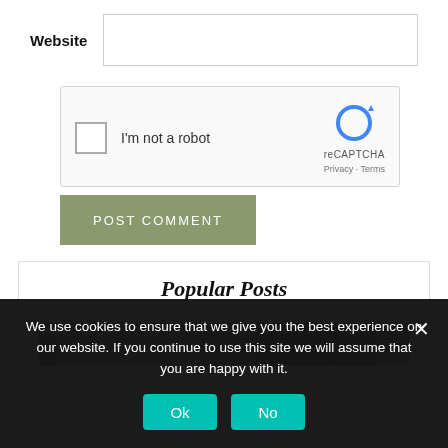Website
[Figure (screenshot): reCAPTCHA widget with checkbox labeled 'I'm not a robot' and reCAPTCHA logo with Privacy and Terms links]
POST COMMENT
Popular Posts
[Figure (photo): Dark historical photograph used as thumbnail in Popular Posts section]
We use cookies to ensure that we give you the best experience on our website. If you continue to use this site we will assume that you are happy with it.